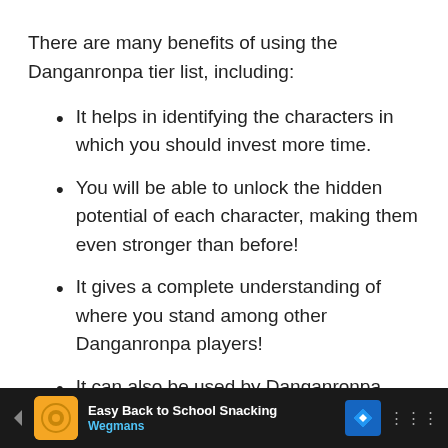There are many benefits of using the Danganronpa tier list, including:
It helps in identifying the characters in which you should invest more time.
You will be able to unlock the hidden potential of each character, making them even stronger than before!
It gives a complete understanding of where you stand among other Danganronpa players!
It can also be used by Danganronpa fans to decide which character they should cosplay for
[Figure (screenshot): Advertisement bar at the bottom showing Wegmans 'Easy Back to School Snacking' ad with logo, navigation arrow, and app icon]